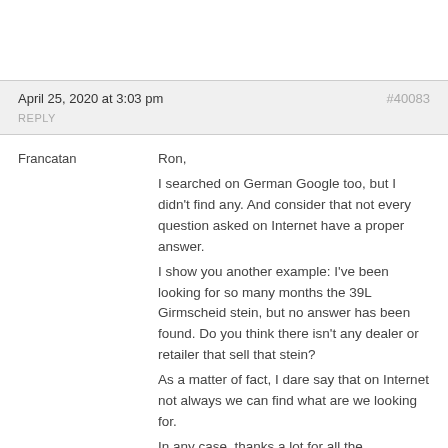April 25, 2020 at 3:03 pm
#40083
REPLY
Francatan
Ron,
I searched on German Google too, but I didn't find any. And consider that not every question asked on Internet have a proper answer.
I show you another example: I've been looking for so many months the 39L Girmscheid stein, but no answer has been found. Do you think there isn't any dealer or retailer that sell that stein?
As a matter of fact, I dare say that on Internet not always we can find what are we looking for.
In any case, thanks a lot for all the